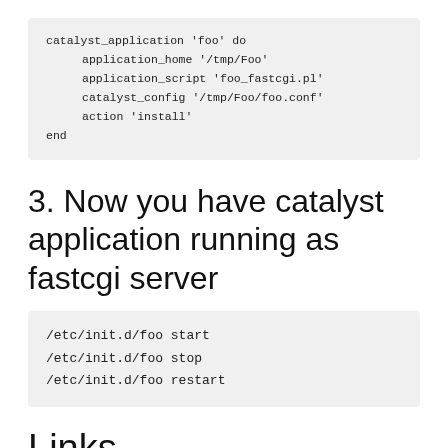catalyst_application 'foo' do
    application_home '/tmp/Foo'
    application_script 'foo_fastcgi.pl'
    catalyst_config '/tmp/Foo/foo.conf'
    action 'install'
end
3. Now you have catalyst application running as fastcgi server
/etc/init.d/foo start
/etc/init.d/foo stop
/etc/init.d/foo restart
Links